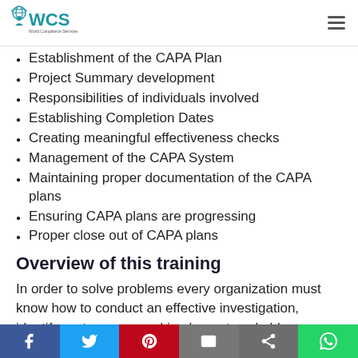WCS World Compliance Services
Establishment of the CAPA Plan
Project Summary development
Responsibilities of individuals involved
Establishing Completion Dates
Creating meaningful effectiveness checks
Management of the CAPA System
Maintaining proper documentation of the CAPA plans
Ensuring CAPA plans are progressing
Proper close out of CAPA plans
Overview of this training
In order to solve problems every organization must know how to conduct an effective investigation, identify root causes, and implement workable corrective action in a
Social share bar: Facebook, Twitter, Pinterest, Email, Share, WhatsApp